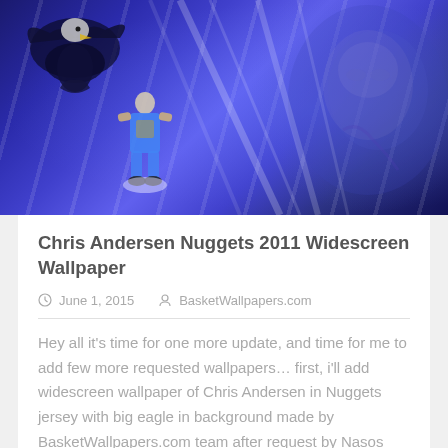[Figure (photo): Basketball wallpaper artwork showing Chris Andersen in Denver Nuggets jersey with a large bald eagle in background and close-up face overlay, blue-toned digital art]
Chris Andersen Nuggets 2011 Widescreen Wallpaper
June 1, 2015   BasketWallpapers.com
Hey all it's time for one more update, and time for me to add few more requested wallpapers… first, i'll add widescreen wallpaper of Chris Andersen in Nuggets jersey with big eagle in background made by BasketWallpapers.com team after request by Nasos Birdmann at basketwallpapers.com